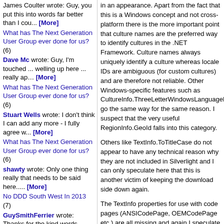James Coulter wrote: Guy, you put this into words far better than I cou... [More]
What has The Next Generation User Group ever done for us? (6)
Dave Mc wrote: Guy, I'm touched ... welling up here ... really ap… [More]
What has The Next Generation User Group ever done for us? (6)
Stuart Wells wrote: I don't think I can add any more - I fully agree w... [More]
What has The Next Generation User Group ever done for us? (6)
shawty wrote: Only one thing really that needs to be said here..... [More]
No DDD South West In 2013 (7)
GuySmithFerrier wrote: Thanks for the kind words, Mark, Mark and Andy. [More]
No DDD South West In 2013 (7)
Mark Rendle wrote: Sad news, but completely understandable. I hope DD... [More]
No DDD South West In
in an appearance. Apart from the fact that this is a Windows concept and not cross-platform there is the more important point that culture names are the preferred way to identify cultures in the .NET Framework. Culture names always uniquely identify a culture whereas locale IDs are ambiguous (for custom cultures) and are therefore not reliable. Other Windows-specific features such as CultureInfo.ThreeLetterWindowsLanguageName go the same way for the same reason. I suspect that the very useful RegionInfo.GeoId falls into this category.
Others like TextInfo.ToTitleCase do not appear to have any technical reason why they are not included in Silverlight and I can only speculate here that this is another victim of keeping the download side down again.
The TextInfo properties for use with code pages (ANSICodePage, OEMCodePage etc.) are all missing and again I speculate that these are missing because there is no desire to bloat Silverlight with support for legacy systems when Silverlight itself fully supports Unicode.
As new Silverlight releases come out I will update the document and no doubt the list will both shrink (as Silverlight adds features like right to left support) and grow (as the .NET Framework adds more to the System.Globalization namespace).